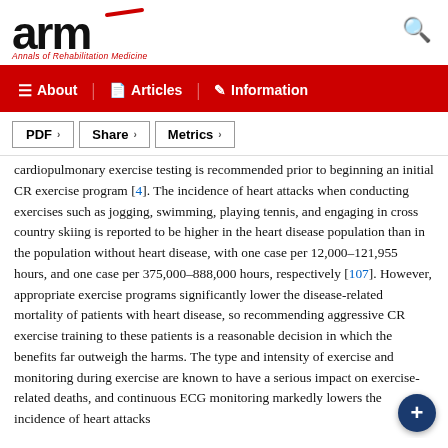ARM – Annals of Rehabilitation Medicine
About | Articles | Information
PDF  Share  Metrics
cardiopulmonary exercise testing is recommended prior to beginning an initial CR exercise program [4]. The incidence of heart attacks when conducting exercises such as jogging, swimming, playing tennis, and engaging in cross country skiing is reported to be higher in the heart disease population than in the population without heart disease, with one case per 12,000–121,955 hours, and one case per 375,000–888,000 hours, respectively [107]. However, appropriate exercise programs significantly lower the disease-related mortality of patients with heart disease, so recommending aggressive CR exercise training to these patients is a reasonable decision in which the benefits far outweigh the harms. The type and intensity of exercise and monitoring during exercise are known to have a serious impact on exercise-related deaths, and continuous ECG monitoring markedly lowers the incidence of heart attacks